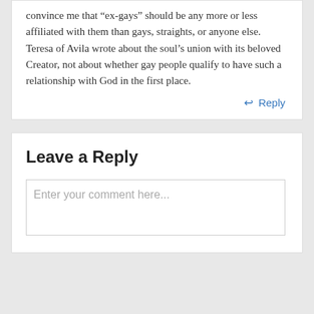convince me that “ex-gays” should be any more or less affiliated with them than gays, straights, or anyone else. Teresa of Avila wrote about the soul’s union with its beloved Creator, not about whether gay people qualify to have such a relationship with God in the first place.
Reply
Leave a Reply
Enter your comment here...